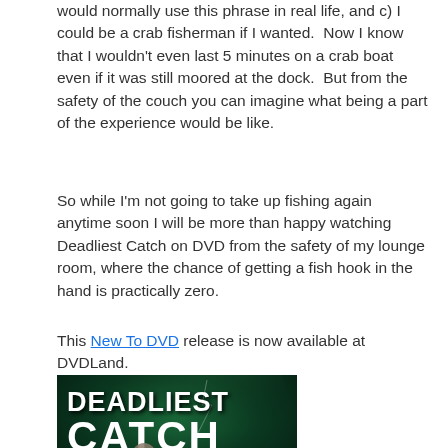would normally use this phrase in real life, and c) I could be a crab fisherman if I wanted.  Now I know that I wouldn't even last 5 minutes on a crab boat even if it was still moored at the dock.  But from the safety of the couch you can imagine what being a part of the experience would be like.
So while I'm not going to take up fishing again anytime soon I will be more than happy watching Deadliest Catch on DVD from the safety of my lounge room, where the chance of getting a fish hook in the hand is practically zero.
This New To DVD release is now available at DVDLand.
[Figure (photo): DVD cover for Deadliest Catch Season 9, showing the show title in bold white text on a dark green background, with 'SEASON 9' in gold/yellow text and silhouettes of crew members at the bottom.]